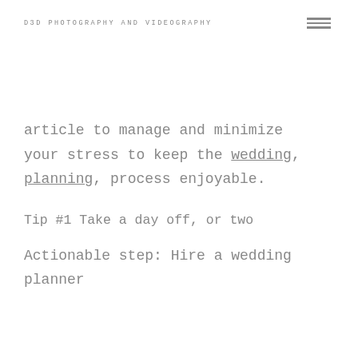D3D PHOTOGRAPHY AND VIDEOGRAPHY
article to manage and minimize your stress to keep the wedding planning process enjoyable.
Tip #1 Take a day off, or two
Actionable step: Hire a wedding planner